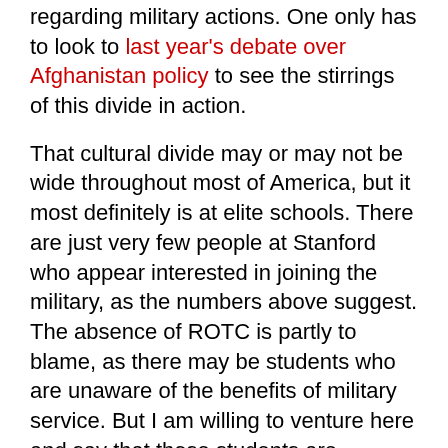regarding military actions. One only has to look to last year's debate over Afghanistan policy to see the stirrings of this divide in action.
That cultural divide may or may not be wide throughout most of America, but it most definitely is at elite schools. There are just very few people at Stanford who appear interested in joining the military, as the numbers above suggest. The absence of ROTC is partly to blame, as there may be students who are unaware of the benefits of military service. But I am willing to venture here and say that those students are relatively few and countable on a hand or two.
The issue, in my analysis, is already one of culture. The qualities that Stanford inculcates in its students are in many ways the antithesis of the military culture. The military honors the rank, not the person. Yet, this is Silicon Valley,